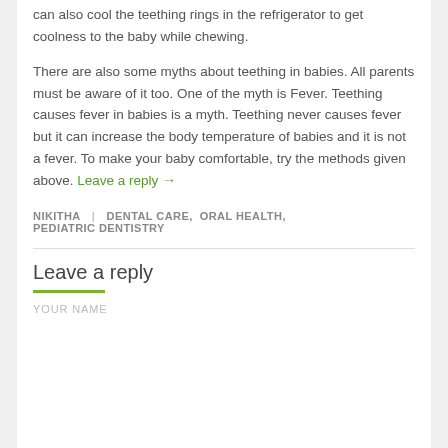can also cool the teething rings in the refrigerator to get coolness to the baby while chewing.
There are also some myths about teething in babies. All parents must be aware of it too. One of the myth is Fever. Teething causes fever in babies is a myth. Teething never causes fever but it can increase the body temperature of babies and it is not a fever. To make your baby comfortable, try the methods given above. Leave a reply →
NIKITHA | DENTAL CARE, ORAL HEALTH, PEDIATRIC DENTISTRY
Leave a reply
YOUR NAME